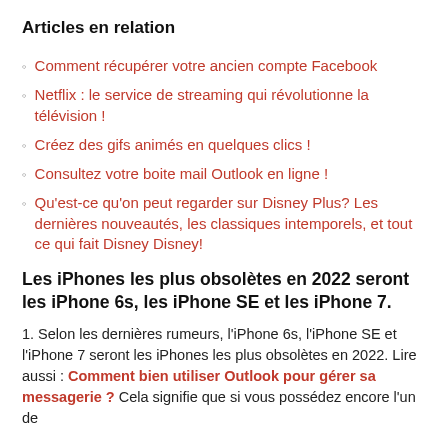Articles en relation
Comment récupérer votre ancien compte Facebook
Netflix : le service de streaming qui révolutionne la télévision !
Créez des gifs animés en quelques clics !
Consultez votre boite mail Outlook en ligne !
Qu'est-ce qu'on peut regarder sur Disney Plus? Les dernières nouveautés, les classiques intemporels, et tout ce qui fait Disney Disney!
Les iPhones les plus obsolètes en 2022 seront les iPhone 6s, les iPhone SE et les iPhone 7.
1. Selon les dernières rumeurs, l'iPhone 6s, l'iPhone SE et l'iPhone 7 seront les iPhones les plus obsolètes en 2022. Lire aussi : Comment bien utiliser Outlook pour gérer sa messagerie ? Cela signifie que si vous possédez encore l'un de